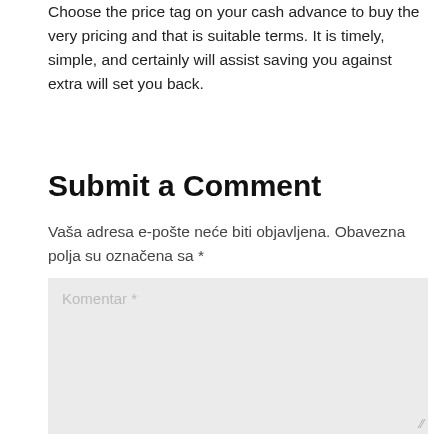Choose the price tag on your cash advance to buy the very pricing and that is suitable terms. It is timely, simple, and certainly will assist saving you against extra will set you back.
Submit a Comment
Vaša adresa e-pošte neće biti objavljena. Obavezna polja su označena sa *
[Figure (screenshot): Comment text area input box with placeholder text 'Komentar *' and a resize handle at the bottom right corner.]